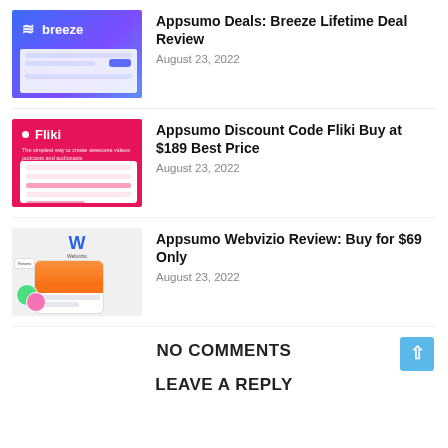[Figure (screenshot): Breeze app thumbnail with blue/purple gradient background showing the Breeze logo and a screenshot of the app interface]
Appsumo Deals: Breeze Lifetime Deal Review
August 23, 2022
[Figure (screenshot): Fliki app thumbnail with bright pink/red background showing Fliki logo and app interface screenshot]
Appsumo Discount Code Fliki Buy at $189 Best Price
August 23, 2022
[Figure (screenshot): Webvizio app thumbnail with light grey background showing the Webvizio logo W and mobile app interface with avatars]
Appsumo Webvizio Review: Buy for $69 Only
August 23, 2022
NO COMMENTS
LEAVE A REPLY